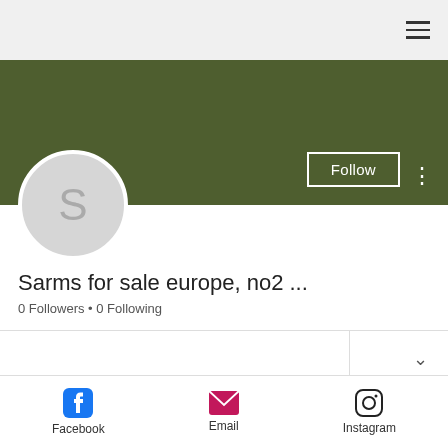[Figure (screenshot): Mobile app top navigation bar with hamburger menu icon on the right]
[Figure (screenshot): Dark olive green banner with Follow button (white outlined) and three-dot menu on right]
[Figure (screenshot): Grey circular avatar with letter S]
Sarms for sale europe, no2 ...
0 Followers • 0 Following
Profile
[Figure (screenshot): Bottom navigation bar with Facebook, Email, and Instagram icons and labels]